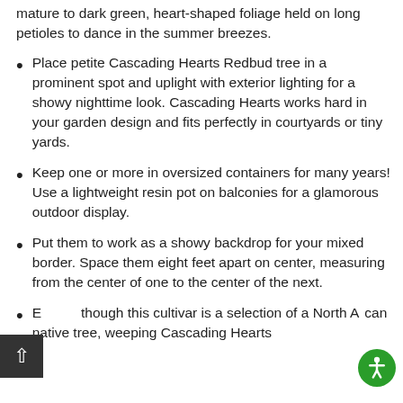mature to dark green, heart-shaped foliage held on long petioles to dance in the summer breezes.
Place petite Cascading Hearts Redbud tree in a prominent spot and uplight with exterior lighting for a showy nighttime look. Cascading Hearts works hard in your garden design and fits perfectly in courtyards or tiny yards.
Keep one or more in oversized containers for many years! Use a lightweight resin pot on balconies for a glamorous outdoor display.
Put them to work as a showy backdrop for your mixed border. Space them eight feet apart on center, measuring from the center of one to the center of the next.
Even though this cultivar is a selection of a North American native tree, weeping Cascading Hearts